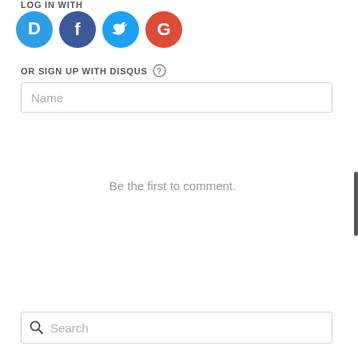LOG IN WITH
[Figure (infographic): Four social login icon circles: Disqus (blue, D), Facebook (dark blue, f), Twitter (light blue, bird), Google (red, G)]
OR SIGN UP WITH DISQUS ?
Name
Be the first to comment.
Search